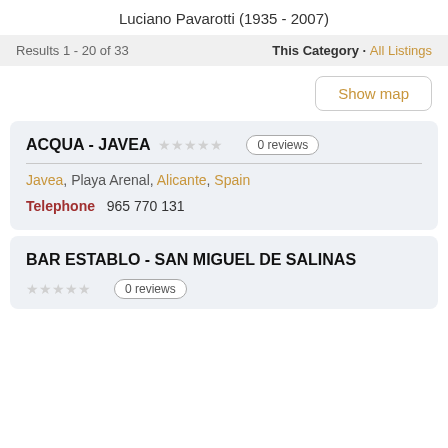Luciano Pavarotti (1935 - 2007)
Results 1 - 20 of 33   This Category · All Listings
Show map
ACQUA - JAVEA
0 reviews
Javea, Playa Arenal, Alicante, Spain
Telephone   965 770 131
BAR ESTABLO - SAN MIGUEL DE SALINAS
0 reviews